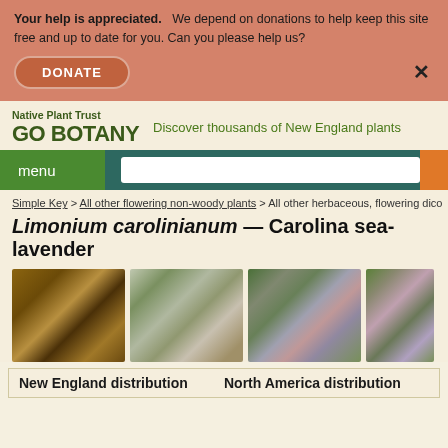Your help is appreciated.   We depend on donations to help keep this site free and up to date for you. Can you please help us?
DONATE
Native Plant Trust GO BOTANY — Discover thousands of New England plants
menu
Simple Key > All other flowering non-woody plants > All other herbaceous, flowering dico
Limonium carolinianum — Carolina sea-lavender
[Figure (photo): Close-up photo of Limonium carolinianum plant stem/bud, brown tones]
[Figure (photo): Close-up photo of Limonium carolinianum stem branches, greenish-brown]
[Figure (photo): Photo of Limonium carolinianum with small purple flowers against green background]
[Figure (photo): Partial photo of Limonium carolinianum, pink/purple flowers]
New England distribution
North America distribution